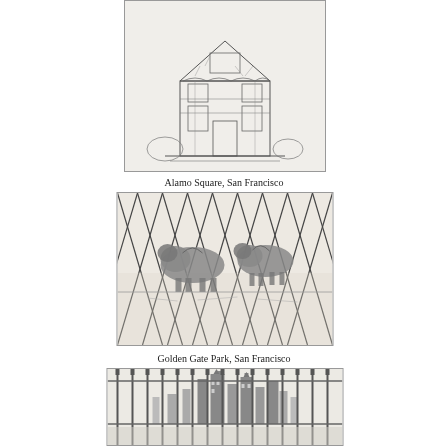[Figure (illustration): Pencil sketch of a Victorian house at Alamo Square, San Francisco. The building has ornate architectural details, windows with decorative trim, and surrounding vegetation.]
Alamo Square, San Francisco
[Figure (illustration): Pencil sketch of bison behind a chain-link fence at Golden Gate Park, San Francisco. Two bison are visible through the diamond-patterned fence.]
Golden Gate Park, San Francisco
[Figure (illustration): Pencil sketch of a city skyline viewed through vertical bars of a fence or gate, showing tall buildings and architectural details.]